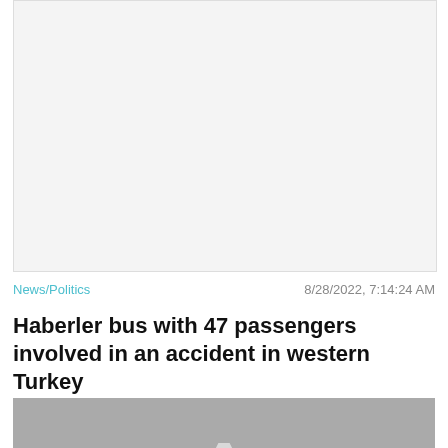[Figure (other): Advertisement banner placeholder area (gray background)]
News/Politics    8/28/2022, 7:14:24 AM
Haberler bus with 47 passengers involved in an accident in western Turkey
[Figure (photo): No image placeholder with camera icon and text 'NO IMAGE', with a Close X button overlay]
[Figure (other): Advertisement banner at bottom: cat game ad with 'ADOPT A CAT NOW' text]